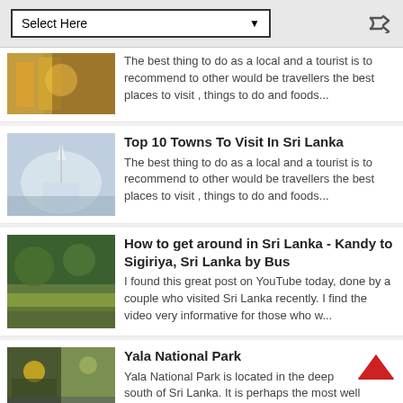Select Here
The best thing to do as a local and a tourist is to recommend to other would be travellers the best places to visit , things to do and foods...
Top 10 Towns To Visit In Sri Lanka
The best thing to do as a local and a tourist is to recommend to other would be travellers the best places to visit , things to do and foods...
How to get around in Sri Lanka - Kandy to Sigiriya, Sri Lanka by Bus
I found this great post on YouTube today, done by a couple who visited Sri Lanka recently. I find the video very informative for those who w...
Yala National Park
Yala National Park is located in the deep south of Sri Lanka. It is perhaps the most well known and spoken about National Park in Sri Lanka....